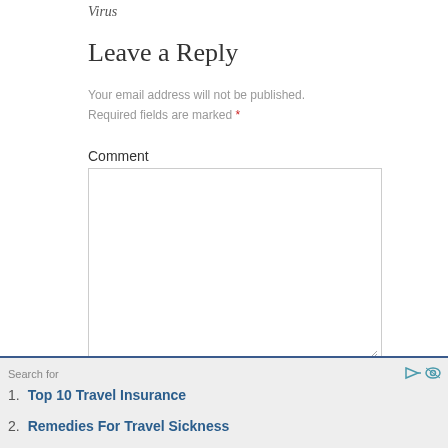Virus
Leave a Reply
Your email address will not be published.
Required fields are marked *
Comment
Search for
1. Top 10 Travel Insurance
2. Remedies For Travel Sickness